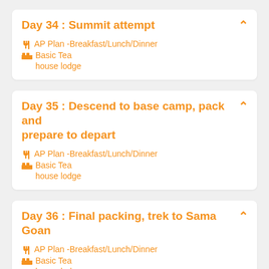Day 34 : Summit attempt
AP Plan -Breakfast/Lunch/Dinner   Basic Tea house lodge
Day 35 : Descend to base camp, pack and prepare to depart
AP Plan -Breakfast/Lunch/Dinner   Basic Tea house lodge
Day 36 : Final packing, trek to Sama Goan
AP Plan -Breakfast/Lunch/Dinner   Basic Tea house lodge
Day 37 : Trek to Namrung where we ca... the evening